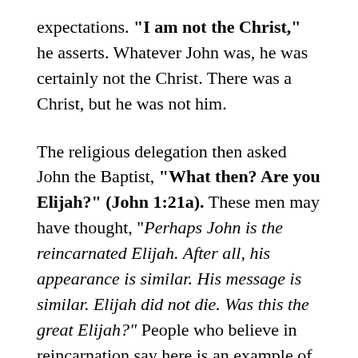expectations. "I am not the Christ," he asserts. Whatever John was, he was certainly not the Christ. There was a Christ, but he was not him.
The religious delegation then asked John the Baptist, "What then? Are you Elijah?" (John 1:21a). These men may have thought, "Perhaps John is the reincarnated Elijah. After all, his appearance is similar. His message is similar. Elijah did not die. Was this the great Elijah?" People who believe in reincarnation say here is an example of it. They hold that here is a man who once lived on the earth appearing again as another man — Elijah reincarnated. But if you look closely at this text you will see there is no